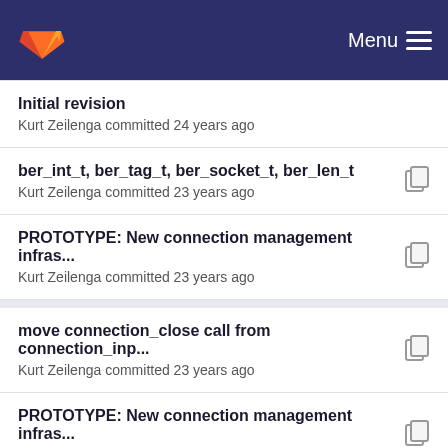GitLab — Menu
Initial revision
Kurt Zeilenga committed 24 years ago
ber_int_t, ber_tag_t, ber_socket_t, ber_len_t
Kurt Zeilenga committed 23 years ago
PROTOTYPE: New connection management infras...
Kurt Zeilenga committed 23 years ago
move connection_close call from connection_inp...
Kurt Zeilenga committed 23 years ago
PROTOTYPE: New connection management infras...
Kurt Zeilenga committed 23 years ago
move connection_close call from connection_inp...
Kurt Zeilenga committed 23 years ago